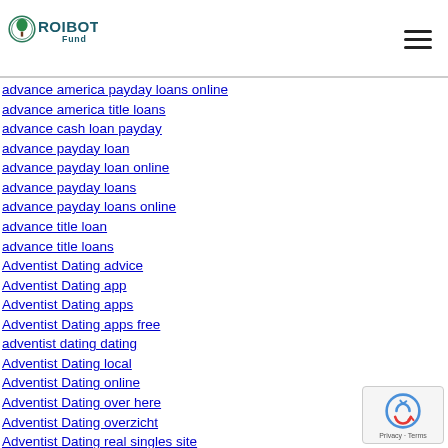[Figure (logo): ROIBOT Fund logo with tree icon]
advance america payday loans online
advance america title loans
advance cash loan payday
advance payday loan
advance payday loan online
advance payday loans
advance payday loans online
advance title loan
advance title loans
Adventist Dating advice
Adventist Dating app
Adventist Dating apps
Adventist Dating apps free
adventist dating dating
Adventist Dating local
Adventist Dating online
Adventist Dating over here
Adventist Dating overzicht
Adventist Dating real singles site
Adventist Dating recenze
adventist dating review
adventist dating reviews
Adventist Dating see the site
Adventist Dating singles sites
Adventist dating sites reviews